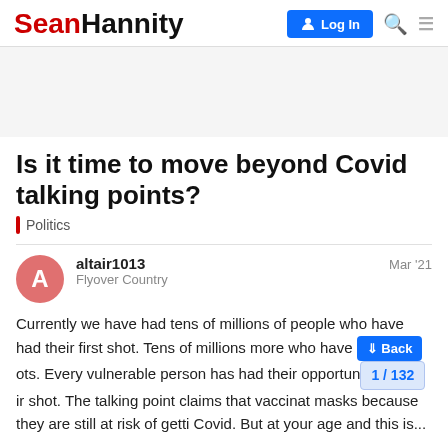Sean Hannity | Log In
Is it time to move beyond Covid talking points?
Politics
altair1013 — Flyover Country — Mar '21
Currently we have had tens of millions of people who have had their first shot. Tens of millions more who have had both shots. Every vulnerable person has had their opportunity to get their shot. The talking point claims that vaccinated still need to wear masks because they are still at risk of getting Covid. But at your age and health this is...